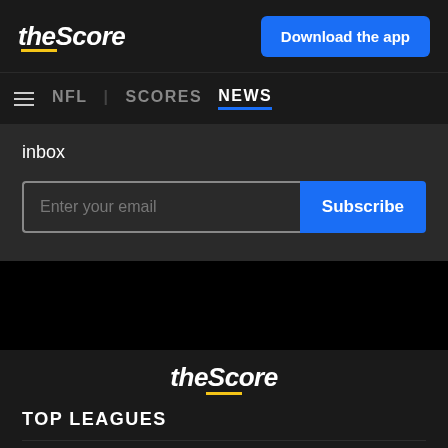theScore | Download the app
NFL | SCORES NEWS
inbox
Enter your email | Subscribe
[Figure (logo): theScore logo in footer]
TOP LEAGUES
NBA Basketball
NFL Football